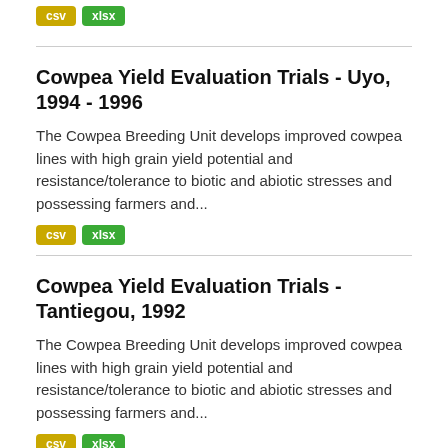csv xlsx
Cowpea Yield Evaluation Trials - Uyo, 1994 - 1996
The Cowpea Breeding Unit develops improved cowpea lines with high grain yield potential and resistance/tolerance to biotic and abiotic stresses and possessing farmers and...
csv xlsx
Cowpea Yield Evaluation Trials - Tantiegou, 1992
The Cowpea Breeding Unit develops improved cowpea lines with high grain yield potential and resistance/tolerance to biotic and abiotic stresses and possessing farmers and...
csv xlsx
Cowpea Yield Evaluation Trials - Sotouboua, 1988 - 1991
The Cowpea Breeding Unit develops improved cowpea lines